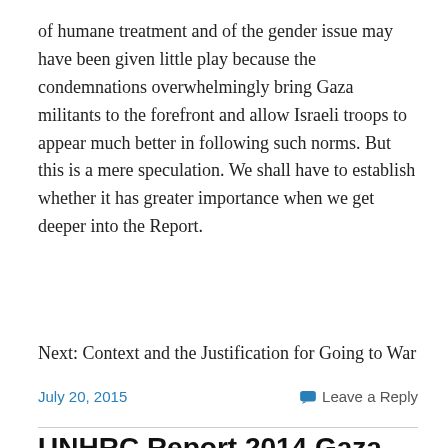of humane treatment and of the gender issue may have been given little play because the condemnations overwhelmingly bring Gaza militants to the forefront and allow Israeli troops to appear much better in following such norms. But this is a mere speculation. We shall have to establish whether it has greater importance when we get deeper into the Report.
Next: Context and the Justification for Going to War
July 20, 2015    Leave a Reply
UNHRC Report 2014 Gaza War.II.The Commissioners
The UNHRC Report on the 2014 Gaza War...